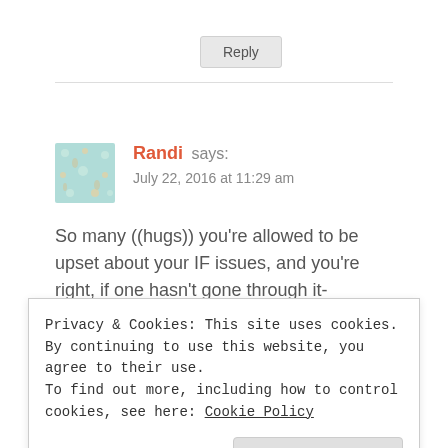Reply
Randi says:
July 22, 2016 at 11:29 am
So many ((hugs)) you're allowed to be upset about your IF issues, and you're right, if one hasn't gone through it-
Privacy & Cookies: This site uses cookies. By continuing to use this website, you agree to their use.
To find out more, including how to control cookies, see here: Cookie Policy
Close and accept